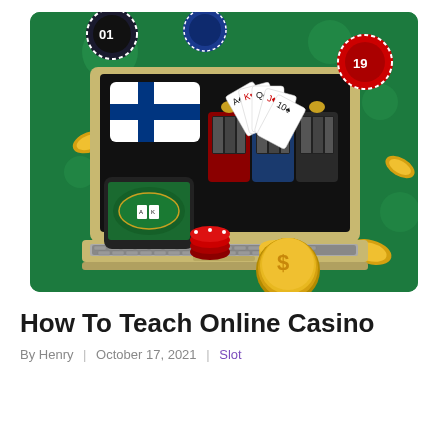[Figure (illustration): Online casino illustration showing a laptop with slot machines, playing cards, a Finnish flag on screen, casino chips (black, red, blue), gold coins, a smartphone with poker table, and a gold dollar coin in the foreground, all on a dark green background.]
How To Teach Online Casino
By Henry | October 17, 2021 | Slot